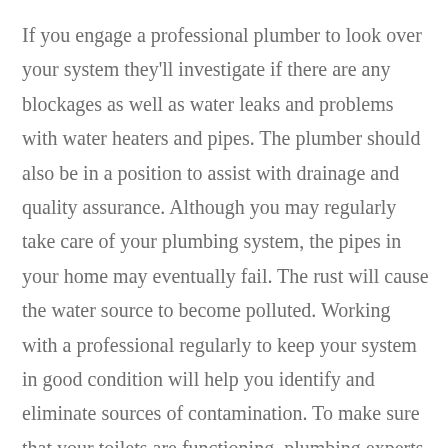If you engage a professional plumber to look over your system they'll investigate if there are any blockages as well as water leaks and problems with water heaters and pipes. The plumber should also be in a position to assist with drainage and quality assurance. Although you may regularly take care of your plumbing system, the pipes in your home may eventually fail. The rust will cause the water source to become polluted. Working with a professional regularly to keep your system in good condition will help you identify and eliminate sources of contamination. To make sure that your toilets are functioning, plumbing experts may be in your area. But, to do this it is possible to specifically hire a bathroom repair expert.